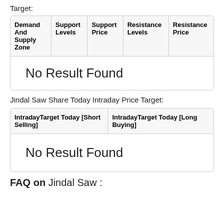Target:
| Demand And Supply Zone | Support Levels | Support Price | Resistance Levels | Resistance Price |
| --- | --- | --- | --- | --- |
| No Result Found |  |  |  |  |
Jindal Saw Share Today Intraday Price Target:
| IntradayTarget Today [Short Selling] | IntradayTarget Today [Long Buying] |
| --- | --- |
| No Result Found |  |
FAQ on Jindal Saw :